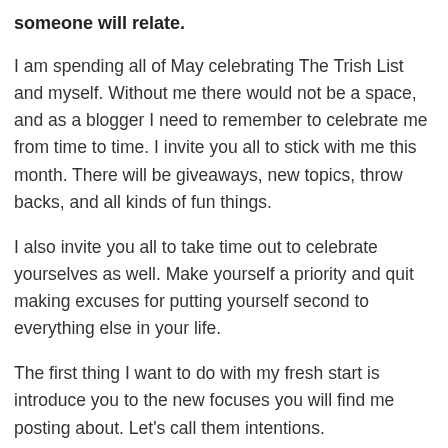someone will relate.
I am spending all of May celebrating The Trish List and myself. Without me there would not be a space, and as a blogger I need to remember to celebrate me from time to time. I invite you all to stick with me this month. There will be giveaways, new topics, throw backs, and all kinds of fun things.
I also invite you all to take time out to celebrate yourselves as well. Make yourself a priority and quit making excuses for putting yourself second to everything else in your life.
The first thing I want to do with my fresh start is introduce you to the new focuses you will find me posting about. Let's call them intentions.
Self care and happiness